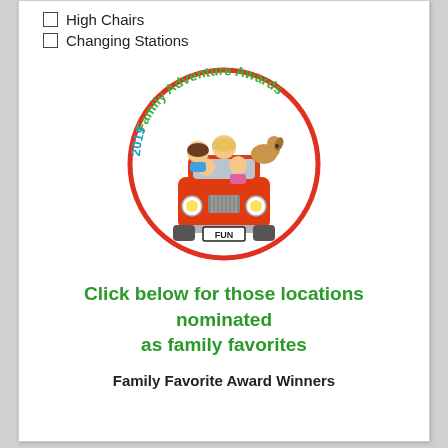High Chairs
Changing Stations
[Figure (logo): 2019 Family Adventure Awards circular badge logo featuring a cartoon family with children and a dog riding in a red car, with 'FUN' license plate, encircled by red border and green/teal text reading '2019 Family Adventure Awards']
Click below for those locations nominated as family favorites
Family Favorite Award Winners